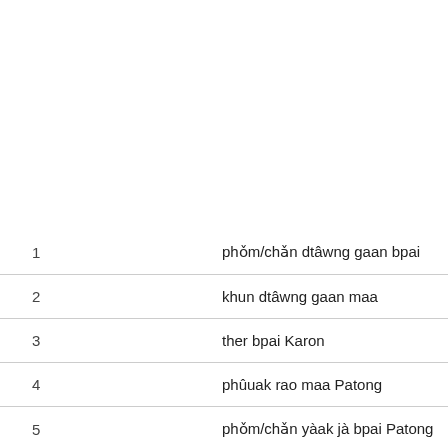| # | Phrase |
| --- | --- |
| 1 | phǒm/chǎn dtâwng gaan bpai |
| 2 | khun dtâwng gaan maa |
| 3 | ther bpai Karon |
| 4 | phûuak rao maa Patong |
| 5 | phǒm/chǎn yàak jà bpai Patong |